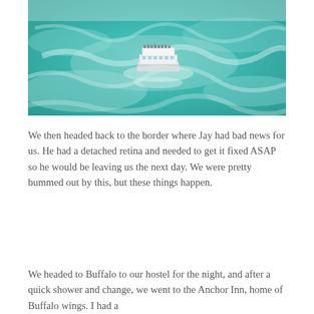[Figure (photo): Aerial view of a tour boat on turquoise churning water near Niagara Falls, viewed from above.]
We then headed back to the border where Jay had bad news for us. He had a detached retina and needed to get it fixed ASAP so he would be leaving us the next day. We were pretty bummed out by this, but these things happen.
We headed to Buffalo to our hostel for the night, and after a quick shower and change, we went to the Anchor Inn, home of Buffalo wings. I had a